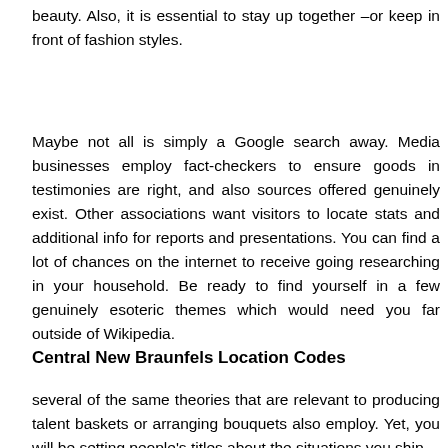beauty. Also, it is essential to stay up together –or keep in front of fashion styles.
Maybe not all is simply a Google search away. Media businesses employ fact-checkers to ensure goods in testimonies are right, and also sources offered genuinely exist. Other associations want visitors to locate stats and additional info for reports and presentations. You can find a lot of chances on the internet to receive going researching in your household. Be ready to find yourself in a few genuinely esoteric themes which would need you far outside of Wikipedia.
Central New Braunfels Location Codes
several of the same theories that are relevant to producing talent baskets or arranging bouquets also employ. Yet, you will be setting people's titles about the situations you ship